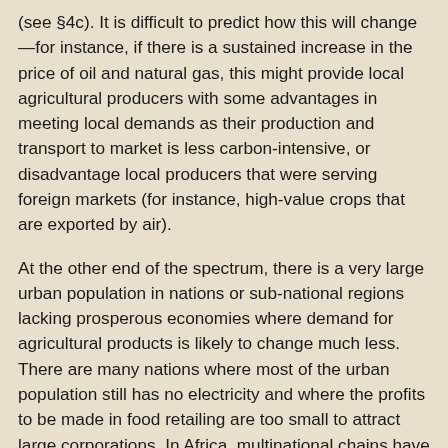(see §4c). It is difficult to predict how this will change—for instance, if there is a sustained increase in the price of oil and natural gas, this might provide local agricultural producers with some advantages in meeting local demands as their production and transport to market is less carbon-intensive, or disadvantage local producers that were serving foreign markets (for instance, high-value crops that are exported by air).
At the other end of the spectrum, there is a very large urban population in nations or sub-national regions lacking prosperous economies where demand for agricultural products is likely to change much less. There are many nations where most of the urban population still has no electricity and where the profits to be made in food retailing are too small to attract large corporations. In Africa, multinational chains have yet to reach poor urban neighbourhoods and have little presence in poorer countries. In addition, a very large part of the urban population in both prosperous and unprosperous low- and middle-income nations have incomes so low that they struggle to meet their basic nutritional needs.